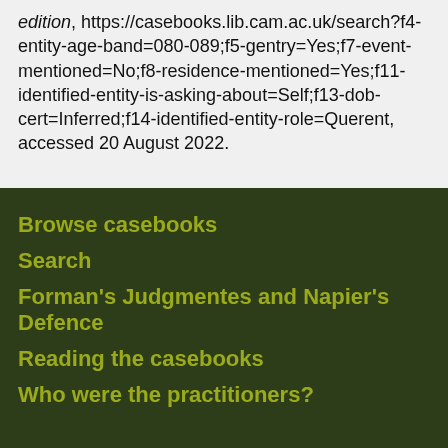edition, https://casebooks.lib.cam.ac.uk/search?f4-entity-age-band=080-089;f5-gentry=Yes;f7-event-mentioned=No;f8-residence-mentioned=Yes;f11-identified-entity-is-asking-about=Self;f13-dob-cert=Inferred;f14-identified-entity-role=Querent, accessed 20 August 2022.
Browse casebooks
Search
Forman's Judgmentes and Napier's Defence
Reading the casebooks
Who were the practitioners?